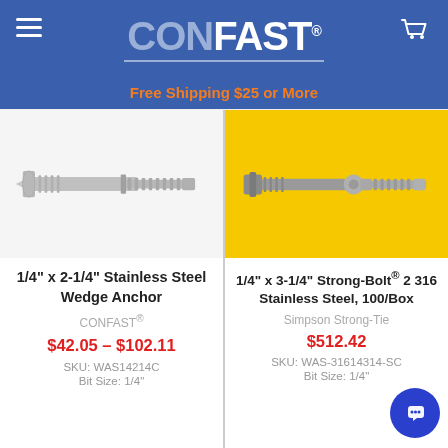CONFAST®
Free Shipping $25 or More
[Figure (photo): 1/4" x 2-1/4" Stainless Steel Wedge Anchor bolt on white background]
1/4" x 2-1/4" Stainless Steel Wedge Anchor
CONFAST®
$42.05 – $102.11
SKU: WAS14214C
Bit Size: 1/4"
[Figure (photo): 1/4" x 3-1/4" Strong-Bolt 2 316 Stainless Steel anchor bolt on yellow background]
1/4" x 3-1/4" Strong-Bolt® 2 316 Stainless Steel, 100/Box
Simpson Strong-Tie
$512.42
SKU: WAS-31614314-SC
Bit Size: 1/4"